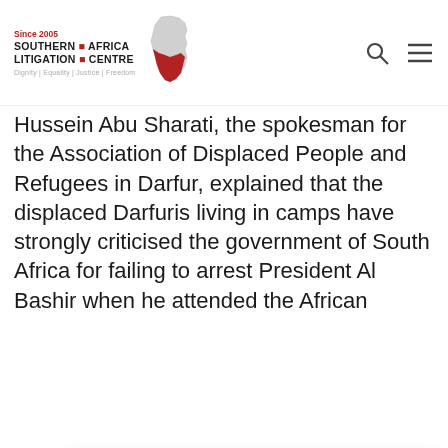[Figure (logo): Southern Africa Litigation Centre logo with Africa map outline and red fill, tagline: Dignity | Equality | Justice | Freedom, Since 2005]
Hussein Abu Sharati, the spokesman for the Association of Displaced People and Refugees in Darfur, explained that the displaced Darfuris living in camps have strongly criticised the government of South Africa for failing to arrest President Al Bashir when he attended the African
[Figure (other): COVID-19 popup banner with South African coat of arms. Text: COVID-19 / Stay informed with official news & stats: / SAacoronavirus.co.za]
made by inviting a person who is wanted by the International Criminal Court.”
The Sudanese refugees in camp Treguine in eastern Chad told Radio Dabanga that they welcome the decision of the Pretoria